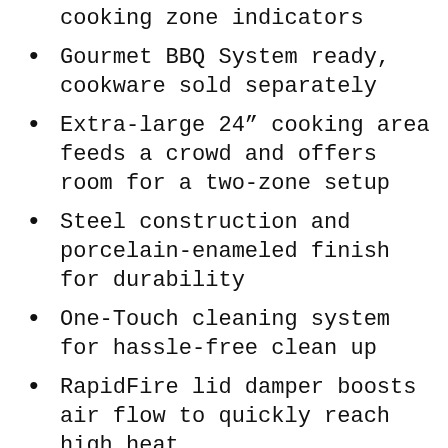Temperature indicator grill and individual cooking zone indicators
Gourmet BBQ System ready, cookware sold separately
Extra-large 24” cooking area feeds a crowd and offers room for a two-zone setup
Steel construction and porcelain-enameled finish for durability
One-Touch cleaning system for hassle-free clean up
RapidFire lid damper boosts air flow to quickly reach high heat